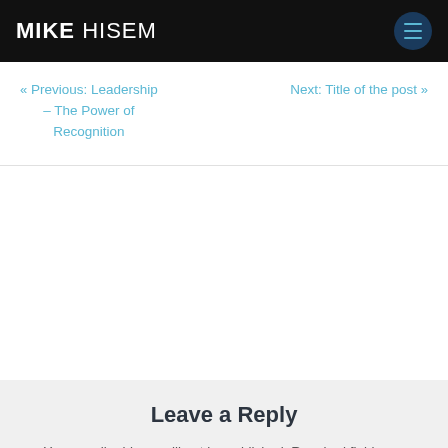MIKE HISEM
« Previous: Leadership – The Power of Recognition
Next: Title of the post »
Leave a Reply
Your email address will not be published. Required fields are marked *
Comment